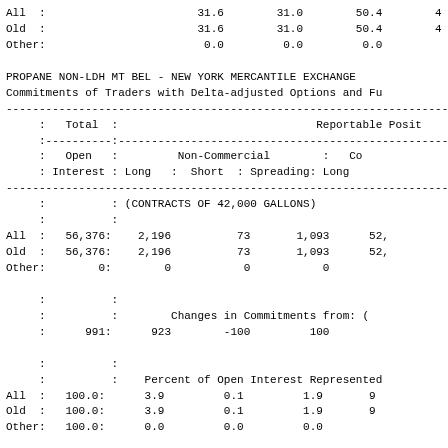| All  : | 31.6 | 31.0 | 50.4 | 4 |
| Old  : | 31.6 | 31.0 | 50.4 | 4 |
| Other: | 0.0 | 0.0 | 0.0 |  |
PROPANE NON-LDH MT BEL - NEW YORK MERCANTILE EXCHANGE
Commitments of Traders with Delta-adjusted Options and Fu
| Total | Reportable Posit | Open Interest | Non-Commercial | Co | Long | Short | Spreading | Long |
| --- | --- | --- | --- | --- | --- | --- | --- | --- |
| (CONTRACTS OF 42,000 GALLONS) |
| All  : | 56,376: | 2,196 | 73 | 1,093 | 52, |
| Old  : | 56,376: | 2,196 | 73 | 1,093 | 52, |
| Other: | 0: | 0 | 0 | 0 |  |
| Changes in Commitments from: ( |
|  | 991: | 923 | -100 | 100 |
| Percent of Open Interest Represented |
| All  : | 100.0: | 3.9 | 0.1 | 1.9 | 9 |
| Old  : | 100.0: | 3.9 | 0.1 | 1.9 | 9 |
| Other: | 100.0: | 0.0 | 0.0 | 0.0 |
| # Traders : |  | Number of Traders in Each |
| All  : | 62: | 5 | 1 | 5 |
| Old  : | 62: | 5 | 1 | 5 |
| Other: | 0: | 0 | 0 | 0 |